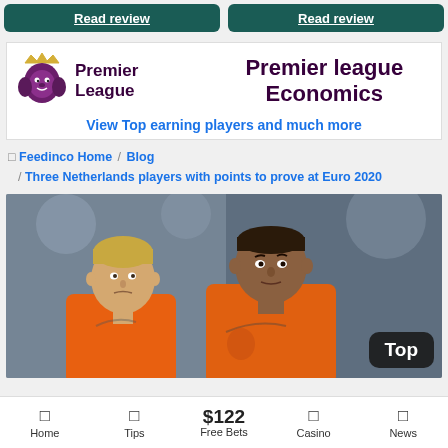Read review | Read review
[Figure (logo): Premier League logo with lion icon and text 'Premier League']
Premier league Economics
View Top earning players and much more
Feedinco Home / Blog / Three Netherlands players with points to prove at Euro 2020
[Figure (photo): Two Netherlands football players wearing orange jerseys, shown from waist up, with a dark blurred stadium background. A 'Top' button overlay is visible in the bottom right corner.]
Home  Tips  $122 Free Bets  Casino  News